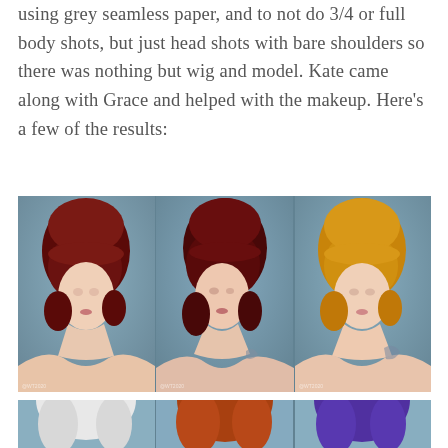using grey seamless paper, and to not do 3/4 or full body shots, but just head shots with bare shoulders so there was nothing but wig and model.  Kate came along with Grace and helped with the makeup.  Here's a few of the results:
[Figure (photo): Three side-by-side head shot photos of female models wearing wigs against a grey seamless background. Left panel: model with dark red curly wig. Center panel: model with dark red/burgundy curly wig, side profile. Right panel: model with golden/blonde curly wig.]
[Figure (photo): Partial view of second row of three photos showing models with wigs - visible are white/blonde wig on left, copper/auburn wig in center, and purple wig on right, all against grey background.]